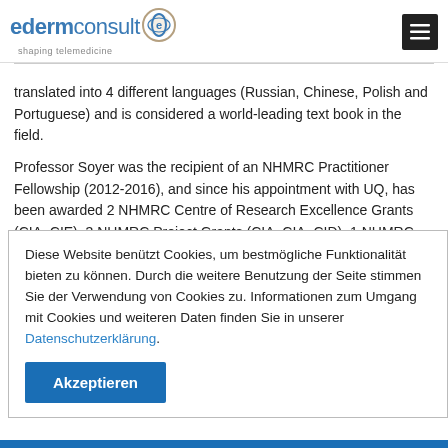edermconsult - shaping telemedicine
translated into 4 different languages (Russian, Chinese, Polish and Portuguese) and is considered a world-leading text book in the field.
Professor Soyer was the recipient of an NHMRC Practitioner Fellowship (2012-2016), and since his appointment with UQ, has been awarded 2 NHMRC Centre of Research Excellence Grants (CIA, CIE), 3 NHMRC Project Grants (CIA, CIA, CID), 1 NHMRC Partnership Grant
Diese Website benützt Cookies, um bestmögliche Funktionalität bieten zu können. Durch die weitere Benutzung der Seite stimmen Sie der Verwendung von Cookies zu. Informationen zum Umgang mit Cookies und weiteren Daten finden Sie in unserer Datenschutzerklärung.
Akzeptieren